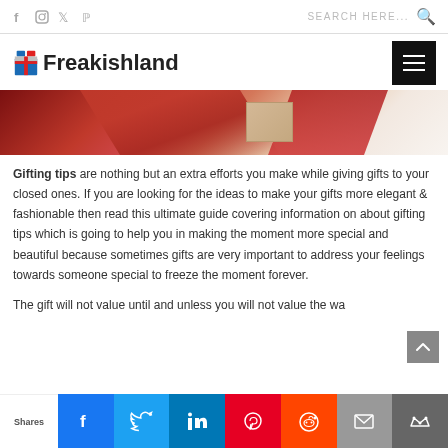Freakishland — social nav and search bar
[Figure (screenshot): Website header with Freakishland logo and hamburger menu]
[Figure (photo): Partial hero image showing red ribbon and gift wrapping on white background]
Gifting tips are nothing but an extra efforts you make while giving gifts to your closed ones. If you are looking for the ideas to make your gifts more elegant & fashionable then read this ultimate guide covering information on about gifting tips which is going to help you in making the moment more special and beautiful because sometimes gifts are very important to address your feelings towards someone special to freeze the moment forever.
The gift will not value until and unless you will not value the wa
[Figure (screenshot): Social share bar at bottom with Facebook, Twitter, LinkedIn, Pinterest, Reddit, Email, and Kingdoms buttons; Shares label on left]